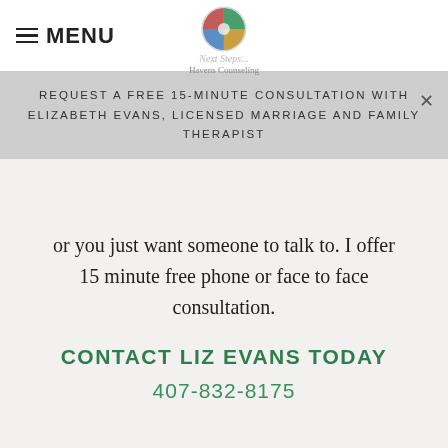☰ MENU | Next Steps... Havens Counseling [logo]
REQUEST A FREE 15-MINUTE CONSULTATION WITH ELIZABETH EVANS, LICENSED MARRIAGE AND FAMILY THERAPIST
or you just want someone to talk to. I offer 15 minute free phone or face to face consultation.
CONTACT LIZ EVANS TODAY
407-832-8175